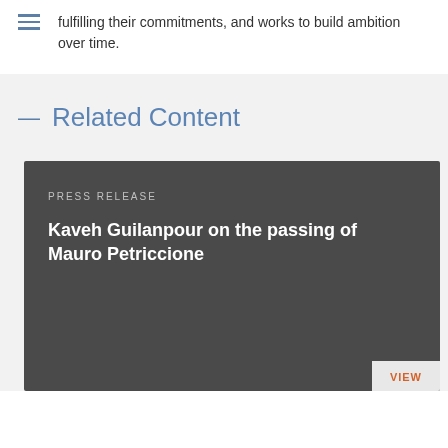fulfilling their commitments, and works to build ambition over time.
Related Content
PRESS RELEASE
Kaveh Guilanpour on the passing of Mauro Petriccione
VIEW